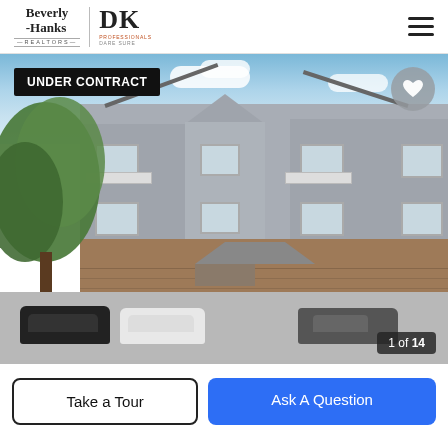Beverly-Hanks | DK Professionals DARE SURE
[Figure (photo): Exterior photo of a multi-story gray sided condominium building with brick base, white balconies, central entryway with pitched roof, trees on left, cars parked in front, labeled '1 of 14']
UNDER CONTRACT
1 of 14
Take a Tour
Ask A Question